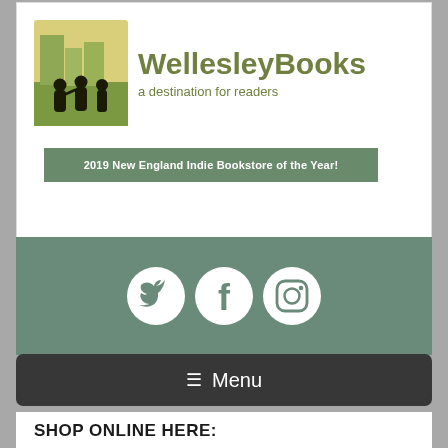[Figure (logo): WellesleyBooks logo with icon of people and text 'WellesleyBooks a destination for readers']
2019 New England Indie Bookstore of the Year!
[Figure (infographic): Social media icons for Twitter, Facebook, and Instagram on teal background]
☰ Menu
SHOP ONLINE HERE:
title, author, keyword or ISBN
Search
Advanced Search
Home >> Lethal Game (A GhostWalker Novel #16) (Mass Market)